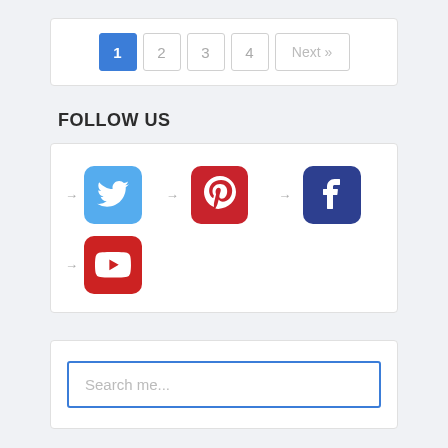[Figure (screenshot): Pagination control showing page buttons: 1 (active, blue), 2, 3, 4, and Next »]
FOLLOW US
[Figure (infographic): Social media icon buttons: Twitter (blue bird), Pinterest (red P), Facebook (blue f), YouTube (red play button), each preceded by a small arrow]
[Figure (screenshot): Search input field with placeholder text 'Search me...']